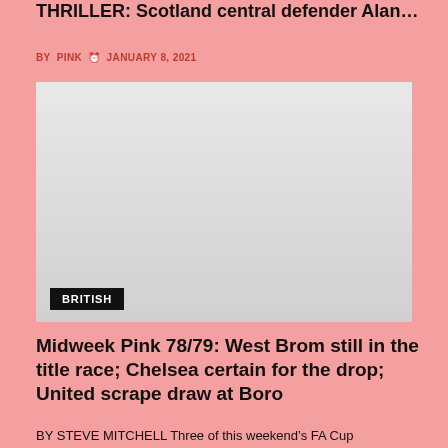HANSEN STRIKE RESCUES LIVERPOOL IN MAINE ROAD THRILLER: Scotland central defender Alan… THRILLER: Scotland central defender Alan…
BY PINK  JANUARY 8, 2021
[Figure (photo): Large gray/white placeholder image with a 'BRITISH' label tag in the bottom left corner]
Midweek Pink 78/79: West Brom still in the title race; Chelsea certain for the drop; United scrape draw at Boro
BY STEVE MITCHELL Three of this weekend's FA Cup